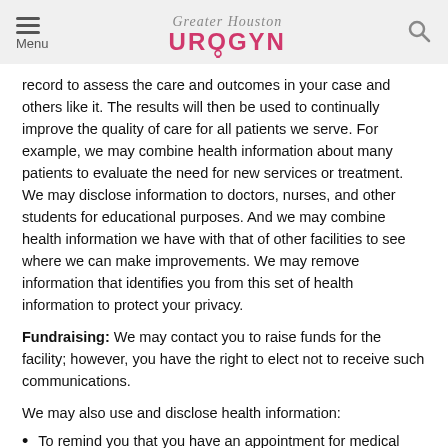Menu | Greater Houston UROGYN
record to assess the care and outcomes in your case and others like it. The results will then be used to continually improve the quality of care for all patients we serve. For example, we may combine health information about many patients to evaluate the need for new services or treatment. We may disclose information to doctors, nurses, and other students for educational purposes. And we may combine health information we have with that of other facilities to see where we can make improvements. We may remove information that identifies you from this set of health information to protect your privacy.
Fundraising: We may contact you to raise funds for the facility; however, you have the right to elect not to receive such communications.
We may also use and disclose health information:
To remind you that you have an appointment for medical